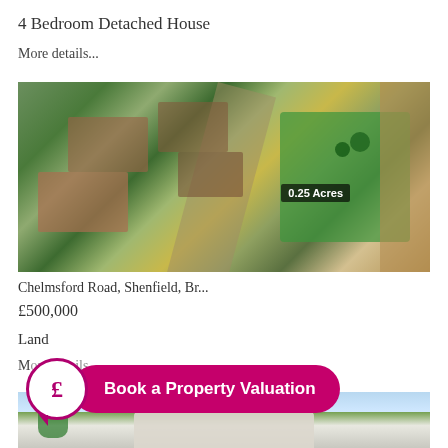4 Bedroom Detached House
More details...
[Figure (photo): Aerial satellite view of residential properties on Chelmsford Road Shenfield, showing houses, driveways, gardens with green lawns and trees. An overlay label reads '0.25 Acres'.]
Chelmsford Road, Shenfield, Br...
£500,000
Land
More details...
[Figure (infographic): Magenta 'Book a Property Valuation' button with a pound sign speech bubble icon on the left]
[Figure (photo): Bottom portion of a property exterior photo showing rooftop and trees]